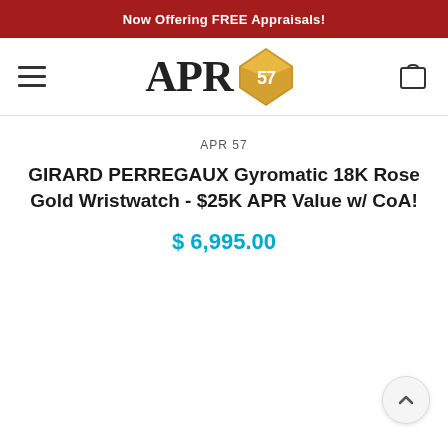Now Offering FREE Appraisals!
[Figure (logo): APR 57 logo with diamond shape containing '57', serif black text 'APR' and gold diamond icon]
APR 57
GIRARD PERREGAUX Gyromatic 18K Rose Gold Wristwatch - $25K APR Value w/ CoA!
$ 6,995.00